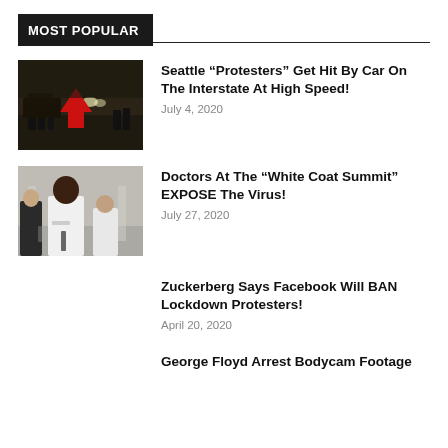MOST POPULAR
[Figure (photo): Night scene showing people on a road with cars, a red arrow pointing to a person]
Seattle “Protesters” Get Hit By Car On The Interstate At High Speed!
July 4, 2020
[Figure (photo): Doctors in white coats at a press conference, a Black woman prominently in the center foreground]
Doctors At The “White Coat Summit” EXPOSE The Virus!
July 27, 2020
Zuckerberg Says Facebook Will BAN Lockdown Protesters!
April 20, 2020
George Floyd Arrest Bodycam Footage